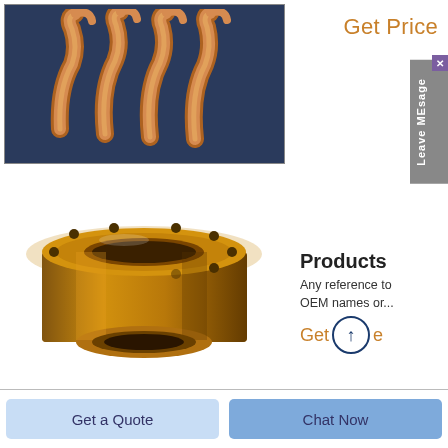[Figure (photo): Copper coil/spring components on dark blue background]
Get Price
Leave MEsage
[Figure (photo): Bronze/copper flanged cylindrical bushing with bolt holes]
Products
Any reference to OEM names or...
Get
Get a Quote
Chat Now